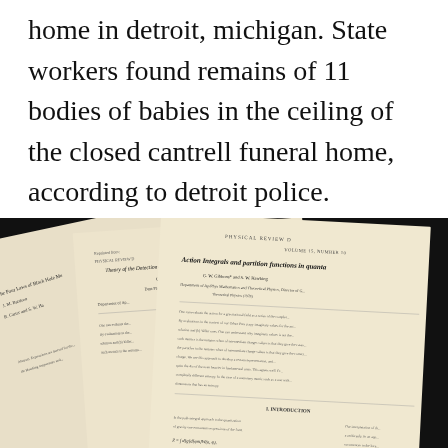home in detroit, michigan. State workers found remains of 11 bodies of babies in the ceiling of the closed cantrell funeral home, according to detroit police.
[Figure (photo): Photograph of multiple scientific journal papers/preprints laid on a dark surface. Visible titles include 'The Four Laws of Black Hole Me[chanics]' by B. Carter and S. W. Haw[king], 'Theory of the Detection of Short Bursts of Gravitational Radiation' by G. W. Gibbons, and 'Action Integrals and partition functions in quanta' by G. W. Gibbons and S. W. Hawking, published in Physical Review D, Volume 15, Number 10.]